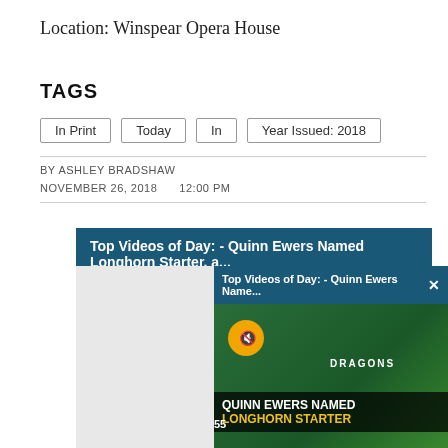Location: Winspear Opera House
TAGS
In Print
Today
In
Year Issued: 2018
BY ASHLEY BRADSHAW
NOVEMBER 26, 2018   12:00 PM
[Figure (screenshot): Video player UI showing 'Top Videos of Day: - Quinn Ewers Named Longhorn Starter, a...' banner in dark teal, with a floating popup video player also titled 'Top Videos of Day: - Quinn Ewers Name...' showing football players in green Dragons uniforms with a mute button and caption overlay reading 'QUINN EWERS NAMED LONGHORN STARTER' in white and yellow text.]